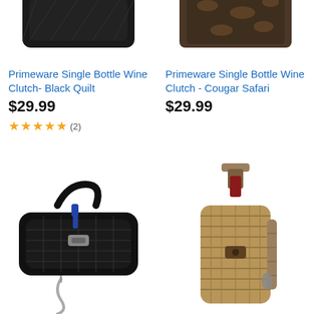[Figure (photo): Primeware Single Bottle Wine Clutch - Black Quilt product photo (partially visible, top portion)]
[Figure (photo): Primeware Single Bottle Wine Clutch - Cougar Safari product photo (partially visible, top portion)]
Primeware Single Bottle Wine Clutch- Black Quilt
$29.99
★★★★★ (2)
Primeware Single Bottle Wine Clutch - Cougar Safari
$29.99
[Figure (photo): Black crocodile-pattern wine clutch bag with corkscrew visible]
[Figure (photo): Wicker/rattan single bottle wine carrier with handle and clasp]